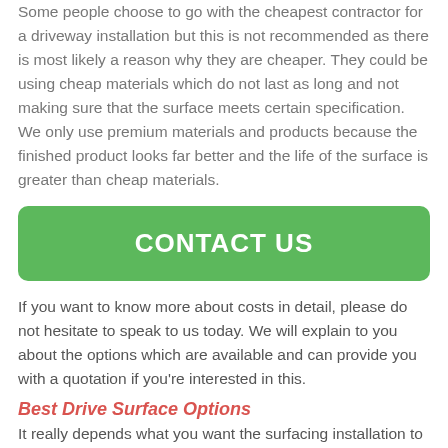Some people choose to go with the cheapest contractor for a driveway installation but this is not recommended as there is most likely a reason why they are cheaper. They could be using cheap materials which do not last as long and not making sure that the surface meets certain specification. We only use premium materials and products because the finished product looks far better and the life of the surface is greater than cheap materials.
[Figure (other): Green rounded rectangle button with white bold text: CONTACT US]
If you want to know more about costs in detail, please do not hesitate to speak to us today. We will explain to you about the options which are available and can provide you with a quotation if you're interested in this.
Best Drive Surface Options
It really depends what you want the surfacing installation to look like, what it's going to be used for and your budget available. Resin bound gravel is a great option and is the most popular surface type which our driveway installers carry out, since it is a premium